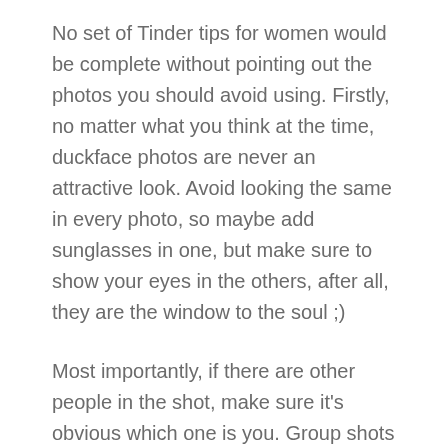No set of Tinder tips for women would be complete without pointing out the photos you should avoid using. Firstly, no matter what you think at the time, duckface photos are never an attractive look. Avoid looking the same in every photo, so maybe add sunglasses in one, but make sure to show your eyes in the others, after all, they are the window to the soul ;)
Most importantly, if there are other people in the shot, make sure it's obvious which one is you. Group shots are okay as a candid shot or one that expresses your interests, but remember that you're trying to promote yourself as much as possible, so you need to be the focus of the shot.
Ultimately, your selection of photos are how you wish to be represented and you're going to have